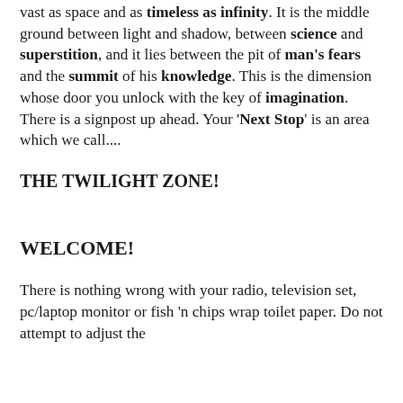vast as space and as timeless as infinity. It is the middle ground between light and shadow, between science and superstition, and it lies between the pit of man's fears and the summit of his knowledge. This is the dimension whose door you unlock with the key of imagination. There is a signpost up ahead. Your 'Next Stop' is an area which we call....
THE TWILIGHT ZONE!
WELCOME!
There is nothing wrong with your radio, television set, pc/laptop monitor or fish 'n chips wrap toilet paper. Do not attempt to adjust the